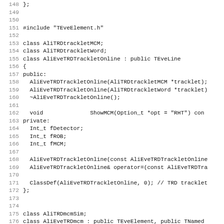Source code listing, lines 148–179, C++ class definitions for AliEveTRDTrackletOnline and AliEveTRDmcm